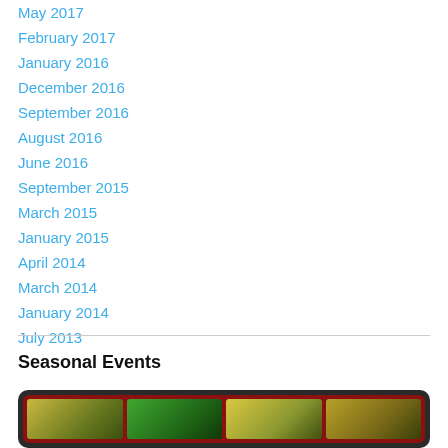May 2017
February 2017
January 2016
December 2016
September 2016
August 2016
June 2016
September 2015
March 2015
January 2015
April 2014
March 2014
January 2014
July 2013
Seasonal Events
[Figure (photo): A collage of seasonal food/nature images displayed in a dark-framed widget with a red background, showing multiple thumbnail images side by side.]